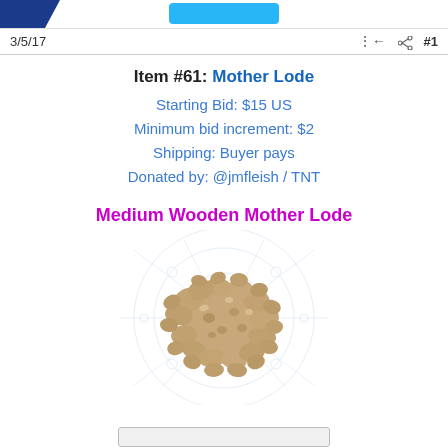3/5/17   #1
Item #61: Mother Lode
Starting Bid: $15 US
Minimum bid increment: $2
Shipping: Buyer pays
Donated by: @jmfleish / TNT
Medium Wooden Mother Lode
[Figure (photo): A medium wooden Mother Lode object — a dense, branching coral-like or mineral formation in beige/tan tones, displayed against a white background with faint decorative circular and starburst graphics.]